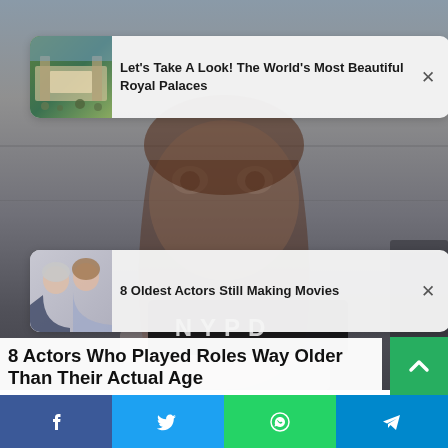[Figure (photo): Background photo of a woman with wide eyes holding an NYPD sign (mugshot style), blurred/dark tones]
[Figure (screenshot): Ad card 1: thumbnail of royal palace aerial view with text 'Let's Take A Look! The World's Most Beautiful Royal Palaces' and X close button]
[Figure (screenshot): Ad card 2: thumbnail of two women (older and younger) with text '8 Oldest Actors Still Making Movies' and X close button]
8 Actors Who Played Roles Way Older Than Their Actual Age
[Figure (infographic): Social share bar with Facebook, Twitter, WhatsApp, and Telegram icons]